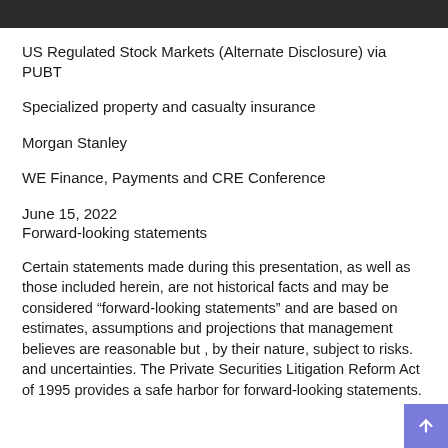US Regulated Stock Markets (Alternate Disclosure) via PUBT
Specialized property and casualty insurance
Morgan Stanley
WE Finance, Payments and CRE Conference
June 15, 2022
Forward-looking statements
Certain statements made during this presentation, as well as those included herein, are not historical facts and may be considered “forward-looking statements” and are based on estimates, assumptions and projections that management believes are reasonable but , by their nature, subject to risks. and uncertainties. The Private Securities Litigation Reform Act of 1995 provides a safe harbor for forward-looking statements.